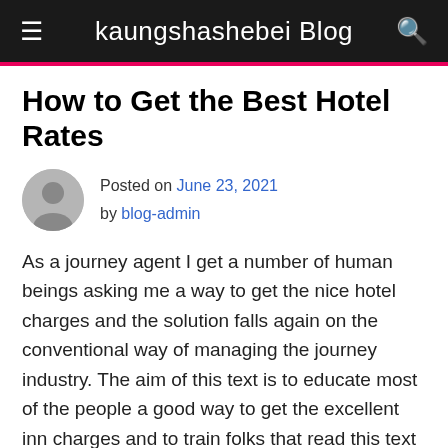kaungshashebei Blog
How to Get the Best Hotel Rates
Posted on June 23, 2021 by blog-admin
As a journey agent I get a number of human beings asking me a way to get the nice hotel charges and the solution falls again on the conventional way of managing the journey industry. The aim of this text is to educate most of the people a good way to get the excellent inn charges and to train folks that read this text about the distinctive kinds of room charges that exist inside the enterprise. Theses suggestions I gift have the capability to prevent numerous loads of bucks on you or your pals, and families' hotel rooms to any extent further.